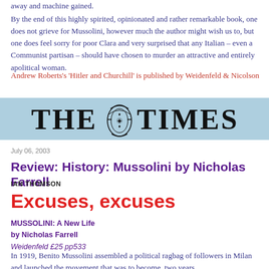away and machine gained.
By the end of this highly spirited, opinionated and rather remarkable book, one does not grieve for Mussolini, however much the author might wish us to, but one does feel sorry for poor Clara and very surprised that any Italian – even a Communist partisan – should have chosen to murder an attractive and entirely apolitical woman.
Andrew Roberts's 'Hitler and Churchill' is published by Weidenfeld & Nicolson
[Figure (logo): The Times newspaper masthead banner with light blue background and bold serif THE TIMES text with decorative crest in the middle]
July 06, 2003
Review: History: Mussolini by Nicholas Farrell
IAN THOMSON
Excuses, excuses
MUSSOLINI: A New Life
by Nicholas Farrell
Weidenfeld £25 pp533
In 1919, Benito Mussolini assembled a political ragbag of followers in Milan and launched the movement that was to become, two years later, the National Fascist party. The next to deliver was from the